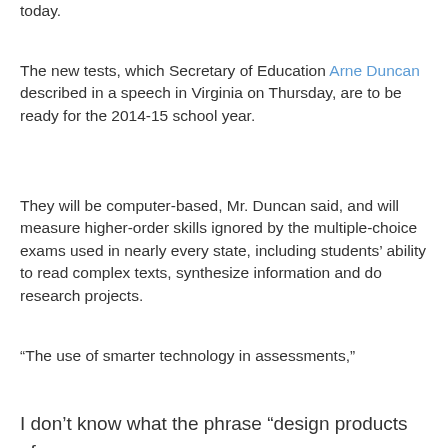today.
The new tests, which Secretary of Education Arne Duncan described in a speech in Virginia on Thursday, are to be ready for the 2014-15 school year.
They will be computer-based, Mr. Duncan said, and will measure higher-order skills ignored by the multiple-choice exams used in nearly every state, including students’ ability to read complex texts, synthesize information and do research projects.
“The use of smarter technology in assessments,” Mr. Duncan said, “makes it possible to assess students by asking them to design products of experiments, to manipulate parameters, run tests and record data.”
I don’t know what the phrase “design products of